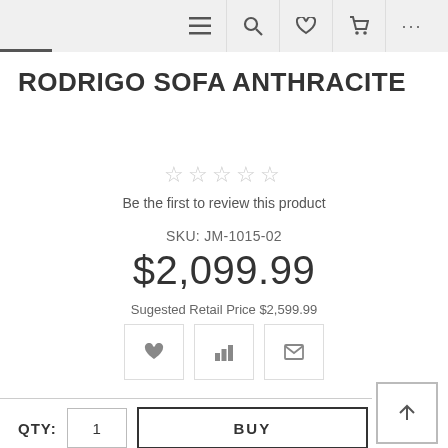Navigation bar with hamburger, search, wishlist, cart, and more icons
RODRIGO SOFA ANTHRACITE
☆☆☆☆☆
Be the first to review this product
SKU: JM-1015-02
$2,099.99
Sugested Retail Price $2,599.99
QTY: 1  BUY